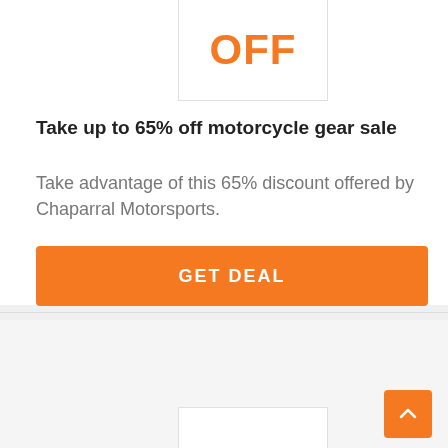[Figure (other): Orange bold OFF text in a bordered white box at top center]
Take up to 65% off motorcycle gear sale
Take advantage of this 65% discount offered by Chaparral Motorsports.
GET DEAL
[Figure (other): Coupon Verified badge with teal checkmark circle icon]
[Figure (other): Back to top orange button with upward arrow]